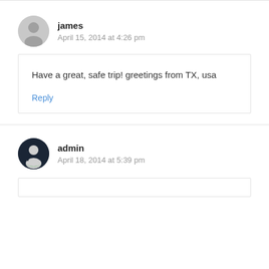james
April 15, 2014 at 4:26 pm
Have a great, safe trip! greetings from TX, usa
Reply
admin
April 18, 2014 at 5:39 pm